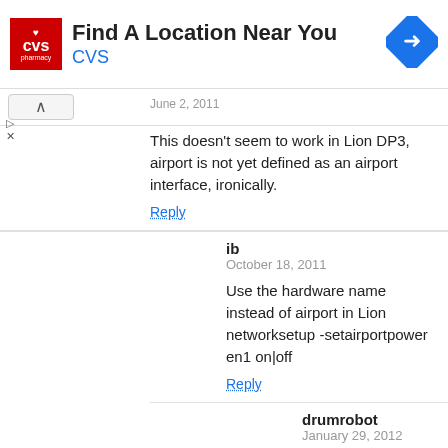[Figure (other): CVS Pharmacy advertisement banner: red CVS logo on left, 'Find A Location Near You' title, 'CVS' subtitle in blue, blue diamond navigation icon on right]
June 2, 2011
This doesn't seem to work in Lion DP3, airport is not yet defined as an airport interface, ironically.
Reply
ib
October 18, 2011
Use the hardware name instead of airport in Lion networksetup -setairportpower en1 on|off
Reply
drumrobot
January 29, 2012
Thanks ib!
Reply